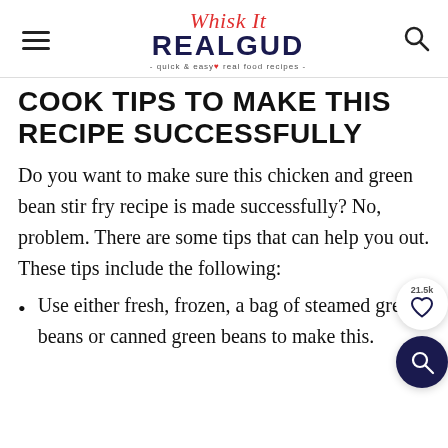Whisk It REALGUD - quick & easy real food recipes -
COOK TIPS TO MAKE THIS RECIPE SUCCESSFULLY
Do you want to make sure this chicken and green bean stir fry recipe is made successfully? No, problem. There are some tips that can help you out. These tips include the following:
Use either fresh, frozen, a bag of steamed green beans or canned green beans to make this.